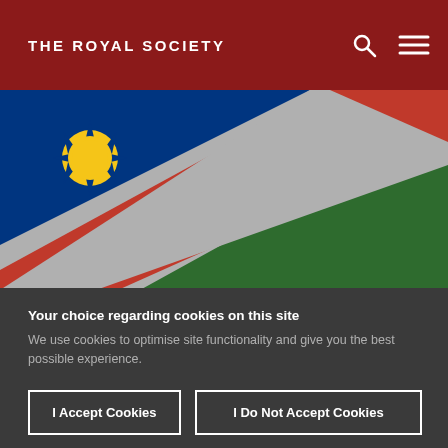THE ROYAL SOCIETY
[Figure (illustration): Namibia national flag showing diagonal stripes of blue, red and green separated by white/grey borders, with a yellow sun in the upper left blue triangle]
Your choice regarding cookies on this site
We use cookies to optimise site functionality and give you the best possible experience.
I Accept Cookies
I Do Not Accept Cookies
Settings